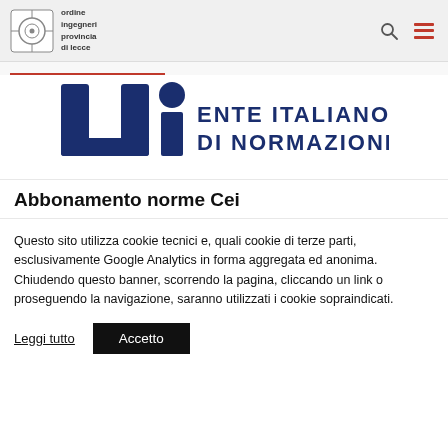ordine ingegneri provincia di lecce
[Figure (logo): UNI Ente Italiano di Normazione logo — stylized blue U and I letters with text 'ENTE ITALIANO DI NORMAZIONE']
Abbonamento norme Cei
Questo sito utilizza cookie tecnici e, quali cookie di terze parti, esclusivamente Google Analytics in forma aggregata ed anonima. Chiudendo questo banner, scorrendo la pagina, cliccando un link o proseguendo la navigazione, saranno utilizzati i cookie sopraindicati.
Leggi tutto   Accetto